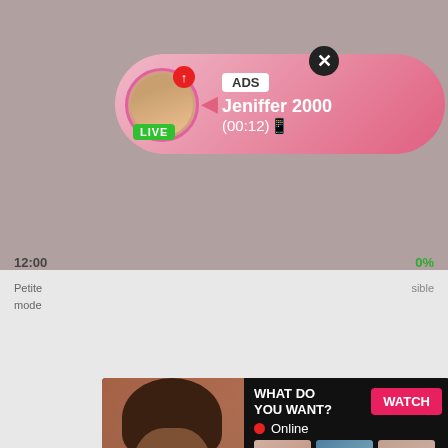[Figure (screenshot): Background screenshot of adult content website with blurred/partial images]
[Figure (screenshot): Notification popup banner: ADS label, avatar with LIVE badge, name 'Jeniffer 2000', time '(00:12)📱', close X button]
ADS
Jeniffer 2000
(00:12)📱
LIVE
12:00
0%
Petite
mode
sible
[Figure (screenshot): Adult ad popup: left panel with photo, right panel showing 'WHAT DO YOU WANT?', WATCH button, Online status, thumbnail images, text 'Cumming, ass fucking, squirt or...', ADS label, X close button]